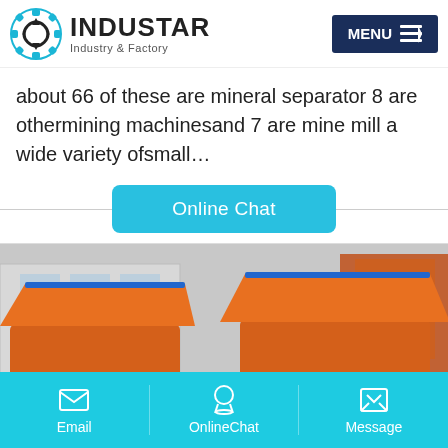INDUSTAR Industry & Factory
about 66 of these are mineral separator 8 are othermining machinesand 7 are mine mill a wide variety ofsmall…
Online Chat
[Figure (photo): Two orange industrial hammer mill/crusher machines parked outdoors in a factory yard. The machines have blue-trimmed hoppers on top. A scroll-up chevron icon is visible in the lower right of the photo.]
Email   OnlineChat   Message